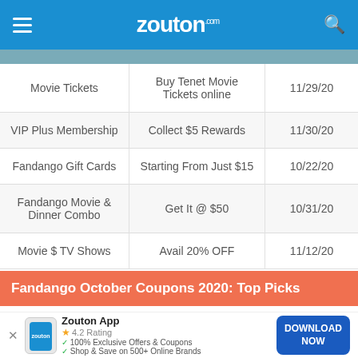zouton.com
|  |  |  |
| --- | --- | --- |
| Movie Tickets | Buy Tenet Movie Tickets online | 11/29/20 |
| VIP Plus Membership | Collect $5 Rewards | 11/30/20 |
| Fandango Gift Cards | Starting From Just $15 | 10/22/20 |
| Fandango Movie & Dinner Combo | Get It @ $50 | 10/31/20 |
| Movie $ TV Shows | Avail 20% OFF | 11/12/20 |
Fandango October Coupons 2020: Top Picks
Zouton App 4.2 Rating 100% Exclusive Offers & Coupons Shop & Save on 500+ Online Brands DOWNLOAD NOW